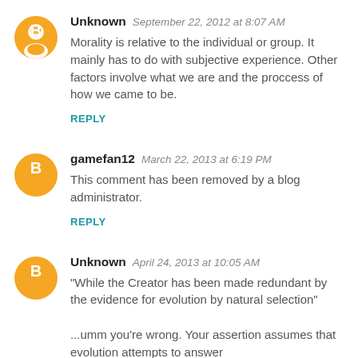Unknown  September 22, 2012 at 8:07 AM
Morality is relative to the individual or group. It mainly has to do with subjective experience. Other factors involve what we are and the proccess of how we came to be.
REPLY
gamefan12  March 22, 2013 at 6:19 PM
This comment has been removed by a blog administrator.
REPLY
Unknown  April 24, 2013 at 10:05 AM
"While the Creator has been made redundant by the evidence for evolution by natural selection"
...umm you're wrong. Your assertion assumes that evolution attempts to answer